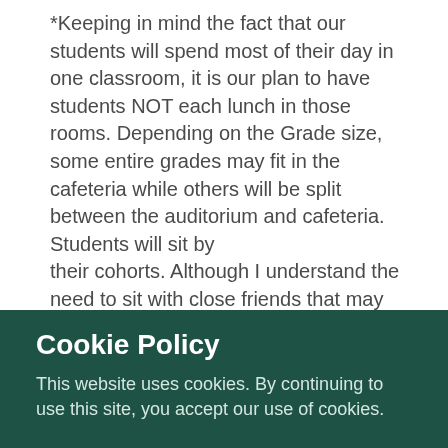*Keeping in mind the fact that our students will spend most of their day in one classroom, it is our plan to have students NOT each lunch in those rooms. Depending on the Grade size, some entire grades may fit in the cafeteria while others will be split between the auditorium and cafeteria. Students will sit by their cohorts. Although I understand the need to sit with close friends that may not be in your cohort, to do so would defeat the purpose of the cohort.
*Students will keep textbooks in their classrooms. They should not bring them home.
*Students may bring in their own devices, preferably Chromebooks, tablets, laptops.
Cookie Policy
This website uses cookies. By continuing to use this site, you accept our use of cookies.